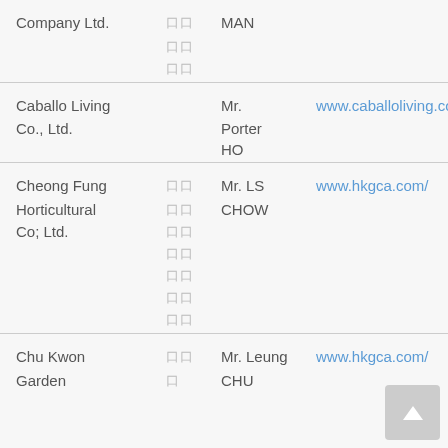| Company | CN | Contact | URL |
| --- | --- | --- | --- |
| Company Ltd. | 口口
口口
口口 | MAN |  |
| Caballo Living Co., Ltd. |  | Mr. Porter HO | www.caballoliving.com/ |
| Cheong Fung Horticultural Co; Ltd. | 口口
口口
口口
口口
口口
口口
口口 | Mr. LS CHOW | www.hkgca.com/ |
| Chu Kwon Garden | 口口
口 | Mr. Leung CHU | www.hkgca.com/ |